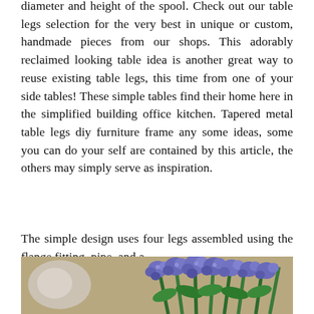diameter and height of the spool. Check out our table legs selection for the very best in unique or custom, handmade pieces from our shops. This adorably reclaimed looking table idea is another great way to reuse existing table legs, this time from one of your side tables! These simple tables find their home here in the simplified building office kitchen. Tapered metal table legs diy furniture frame any some ideas, some you can do your self are contained by this article, the others may simply serve as inspiration.
The simple design uses four legs assembled using the flange fitting, pipe, and a.
[Figure (photo): Photo of blue/purple hyacinth flowers with green stems on a wooden surface]